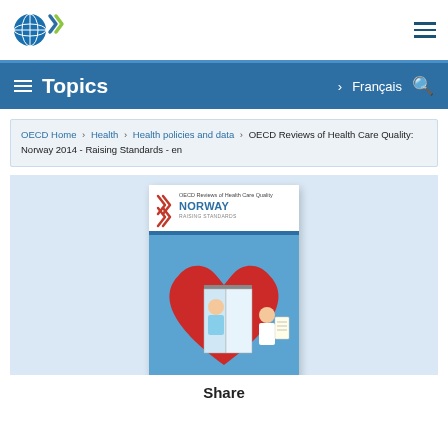[Figure (logo): OECD globe and chevron logo in top left, hamburger menu icon top right]
Topics   > Français  🔍
OECD Home > Health > Health policies and data > OECD Reviews of Health Care Quality: Norway 2014 - Raising Standards - en
[Figure (photo): Book cover of OECD Reviews of Health Care Quality: Norway - Raising Standards, showing cartoon illustration of a doctor examining a patient inside a heart]
Share